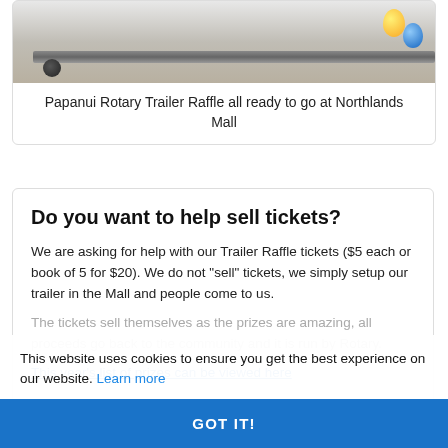[Figure (photo): Photo of a trailer raffle setup with yellow and blue balloons at Northlands Mall, showing a horizontal rail/beam on the trailer.]
Papanui Rotary Trailer Raffle all ready to go at Northlands Mall
Do you want to help sell tickets?
We are asking for help with our Trailer Raffle tickets ($5 each or book of 5 for $20). We do not "sell" tickets, we simply setup our trailer in the Mall and people come to us.
The tickets sell themselves as the prizes are amazing, all proceeds go back to the community and it is run by Rotary.
This year's list of prizes can be viewed here
This website uses cookies to ensure you get the best experience on our website. Learn more
GOT IT!